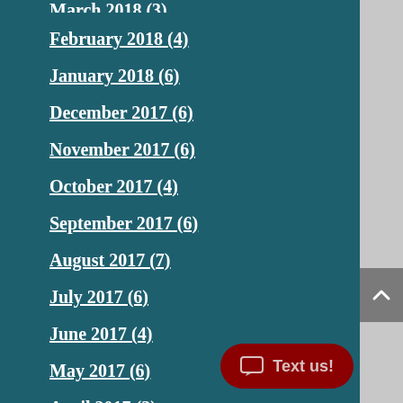March 2018 (3)
February 2018 (4)
January 2018 (6)
December 2017 (6)
November 2017 (6)
October 2017 (4)
September 2017 (6)
August 2017 (7)
July 2017 (6)
June 2017 (4)
May 2017 (6)
April 2017 (3)
March 2017 (11)
February 2017 (2)
January 2017 (5)